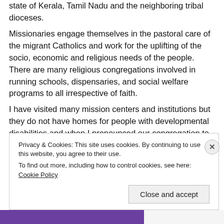state of Kerala, Tamil Nadu and the neighboring tribal dioceses.
Missionaries engage themselves in the pastoral care of the migrant Catholics and work for the uplifting of the socio, economic and religious needs of the people. There are many religious congregations involved in running schools, dispensaries, and social welfare programs to all irrespective of faith.
I have visited many mission centers and institutions but they do not have homes for people with developmental disabilities and when I pronounced our congregation to them it was new. I had an appointment with the archbishop of Raipur and briefed him about our mission and he will discuss this with his priests' council and give
Privacy & Cookies: This site uses cookies. By continuing to use this website, you agree to their use.
To find out more, including how to control cookies, see here: Cookie Policy
Close and accept